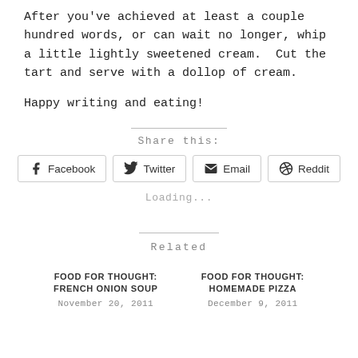After you've achieved at least a couple hundred words, or can wait no longer, whip a little lightly sweetened cream.  Cut the tart and serve with a dollop of cream.
Happy writing and eating!
Share this:
Facebook  Twitter  Email  Reddit
Loading...
Related
FOOD FOR THOUGHT: FRENCH ONION SOUP
November 20, 2011
FOOD FOR THOUGHT: HOMEMADE PIZZA
December 9, 2011